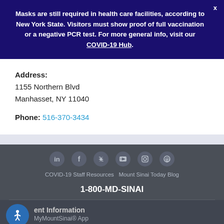Masks are still required in health care facilities, according to New York State. Visitors must show proof of full vaccination or a negative PCR test. For more general info, visit our COVID-19 Hub.
Address:
1155 Northern Blvd
Manhasset, NY 11040
Phone: 516-370-3434
[Figure (other): Social media icons: LinkedIn, Facebook, Twitter, YouTube, Instagram, Pinterest]
COVID-19 Staff Resources  Mount Sinai Today Blog
1-800-MD-SINAI
ent Information
MyMountSinai® App